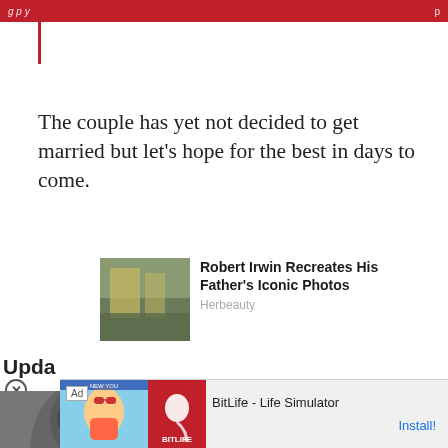The couple has yet not decided to get married but let's hope for the best in days to come.
[Figure (photo): Thumbnail photo for related article about Robert Irwin]
Robert Irwin Recreates His Father's Iconic Photos
Herbeauty
[Figure (photo): Video thumbnail showing a person in a grey hoodie with a play button overlay]
[Figure (screenshot): Advertisement for BitLife - Life Simulator app showing Ad label, cartoon character, BitLife logo, app name and Install button]